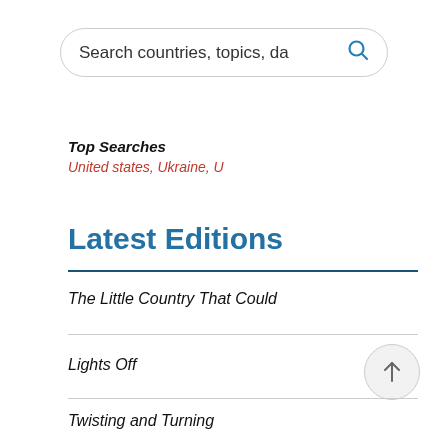[Figure (screenshot): Search bar with rounded corners, text 'Search countries, topics, da' and a blue search icon on the right]
Top Searches
United states, Ukraine, U
Latest Editions
The Little Country That Could
Lights Off
Twisting and Turning